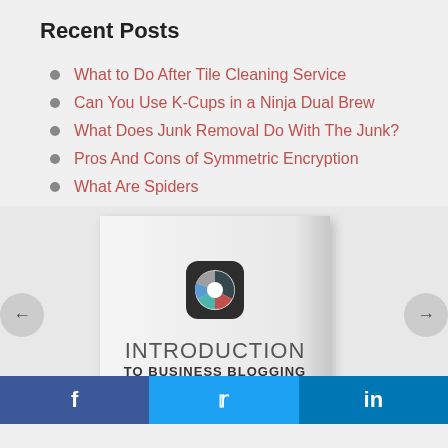Recent Posts
What to Do After Tile Cleaning Service
Can You Use K-Cups in a Ninja Dual Brew
What Does Junk Removal Do With The Junk?
Pros And Cons of Symmetric Encryption
What Are Spiders
[Figure (photo): Book cover: Introduction to Business Blogging with a pie chart app icon, shown with navigation arrows on left and right, and social sharing buttons (Facebook, Twitter, LinkedIn) at the bottom]